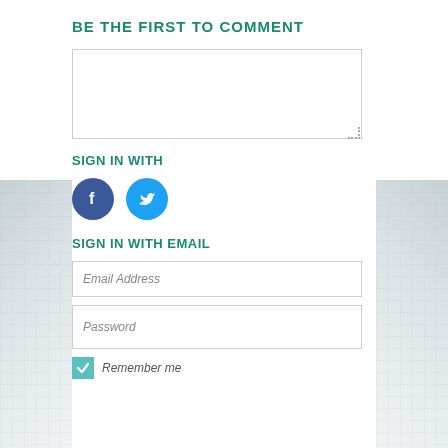BE THE FIRST TO COMMENT
[Figure (other): Large empty text area input box for comment entry]
SIGN IN WITH
[Figure (illustration): Facebook circular icon (dark blue with white 'f') and Twitter circular icon (light blue with white bird)]
SIGN IN WITH EMAIL
[Figure (other): Email Address input field (italic placeholder text)]
[Figure (other): Password input field (italic placeholder text)]
[Figure (other): Teal checkbox checked with 'Remember me' italic label]